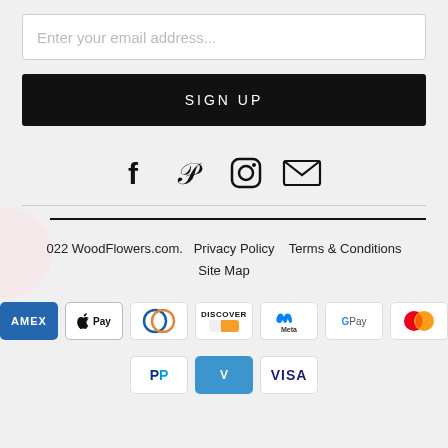Enter your email address...
SIGN UP
[Figure (illustration): Social media icons: Facebook, Pinterest, Instagram, Email]
2022 WoodFlowers.com.  Privacy Policy    Terms & Conditions    Site Map
[Figure (infographic): Payment method logos: Amex, Apple Pay, Diners Club, Discover, Meta Pay, Google Pay, Mastercard, PayPal, Venmo, Visa]